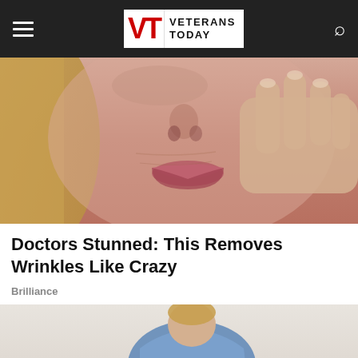Veterans Today
[Figure (photo): Close-up photo of a woman's face with her hand touching her cheek, showing skin texture near the eye area. Blond hair visible on the left side.]
Doctors Stunned: This Removes Wrinkles Like Crazy
Brilliance
[Figure (illustration): Illustrated image of a person wearing a blue shirt and dark shorts, bending forward at the waist with arms crossed, with a green downward arrow visible at the bottom left.]